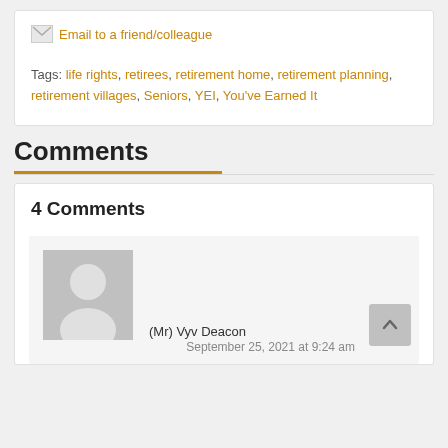[Figure (other): Email to a friend/colleague icon link]
Tags: life rights, retirees, retirement home, retirement planning, retirement villages, Seniors, YEI, You've Earned It
Comments
4 Comments
(Mr) Vyv Deacon
September 25, 2021 at 9:24 am